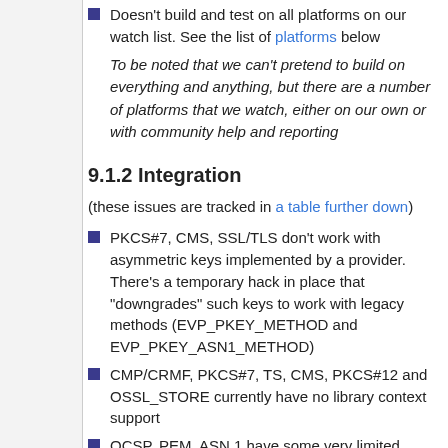Doesn't build and test on all platforms on our watch list. See the list of platforms below
To be noted that we can't pretend to build on everything and anything, but there are a number of platforms that we watch, either on our own or with community help and reporting
9.1.2 Integration
(these issues are tracked in a table further down)
PKCS#7, CMS, SSL/TLS don't work with asymmetric keys implemented by a provider. There's a temporary hack in place that "downgrades" such keys to work with legacy methods (EVP_PKEY_METHOD and EVP_PKEY_ASN1_METHOD)
CMP/CRMF, PKCS#7, TS, CMS, PKCS#12 and OSSL_STORE currently have no library context support
OCSP, PEM, ASN.1 have some very limited library context support